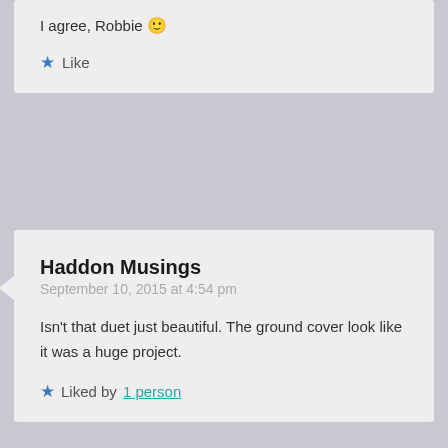I agree, Robbie 🙂
Like
Haddon Musings
September 10, 2015 at 4:54 pm
Isn't that duet just beautiful. The ground cover look like it was a huge project.
Liked by 1 person
[Figure (illustration): Teal circular avatar icon with person silhouette]
Carol A. Hand
September 10, 2015 at 6:05 pm
Thank you for your comments, Haddon Musings. I agree – the duet is beautiful! And the yard work